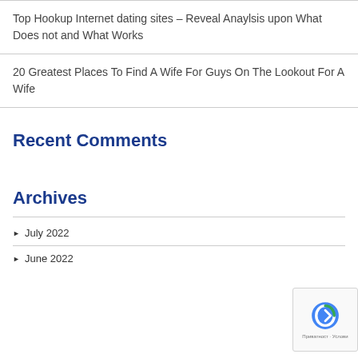Top Hookup Internet dating sites – Reveal Anaylsis upon What Does not and What Works
20 Greatest Places To Find A Wife For Guys On The Lookout For A Wife
Recent Comments
Archives
July 2022
June 2022